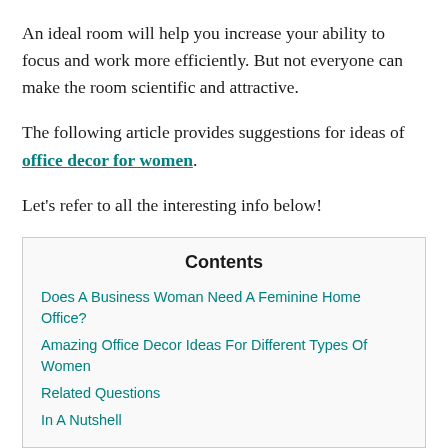An ideal room will help you increase your ability to focus and work more efficiently. But not everyone can make the room scientific and attractive.
The following article provides suggestions for ideas of office decor for women.
Let's refer to all the interesting info below!
| Contents |
| --- |
| Does A Business Woman Need A Feminine Home Office? |
| Amazing Office Decor Ideas For Different Types Of Women |
| Related Questions |
| In A Nutshell |